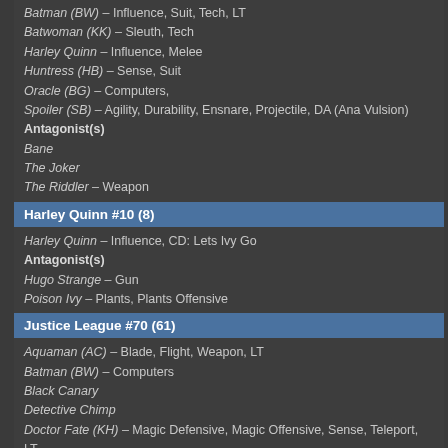Batman (BW) – Influence, Suit, Tech, LT
Batwoman (KK) – Sleuth, Tech
Harley Quinn – Influence, Melee
Huntress (HB) – Sense, Suit
Oracle (BG) – Computers,
Spoiler (SB) – Agility, Durability, Ensnare, Projectile, DA (Ana Vulsion)
Antagonist(s)
Bane
The Joker
The Riddler – Weapon
Harley Quinn #10 (8)
Harley Quinn – Influence, CD: Lets Ivy Go
Antagonist(s)
Hugo Strange – Gun
Poison Ivy – Plants, Plants Offensive
Justice League #70 (61)
Aquaman (AC) – Blade, Flight, Weapon, LT
Batman (BW) – Computers
Black Canary
Detective Chimp
Doctor Fate (KH) – Magic Defensive, Magic Offensive, Sense, Teleport, LT
Etrigan (JB) – Durability, Melee
Green Arrow (OQ) – Weapon
Hawkgirl (KS) – Flight
Hellblazer (JC) – Deception, Telepathy
Naomi – Flight